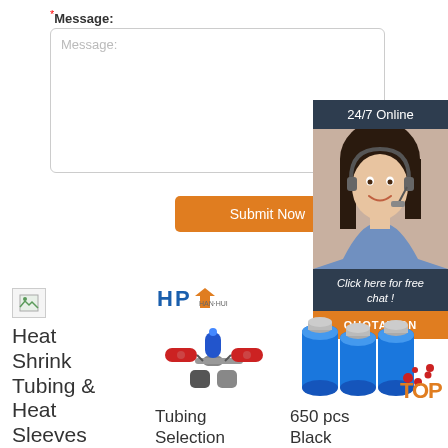* Message:
Message:
Submit Now
[Figure (screenshot): 24/7 Online chat widget with woman wearing headset, Click here for free chat!, QUOTATION button]
[Figure (photo): Small broken image icon placeholder]
[Figure (logo): HP Han-hui logo in blue/orange]
[Figure (photo): Colored cylindrical tubing/connectors product image]
[Figure (photo): Blue cylindrical battery/capacitor products with TOP badge]
Heat Shrink Tubing & Heat Sleeves
Tubing Selection
650 pcs Black